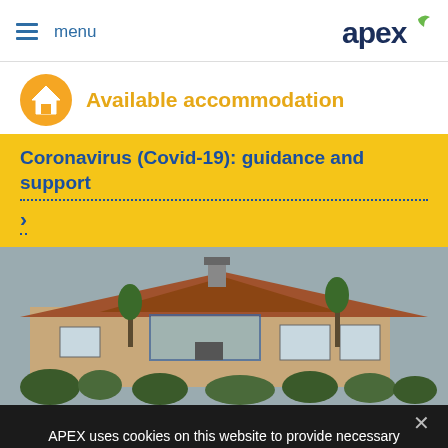≡ menu   apex
Available accommodation
Coronavirus (Covid-19): guidance and support >
[Figure (photo): Exterior photo of a residential building with red brick and tiled roof, surrounded by trees and shrubs]
APEX uses cookies on this website to provide necessary site functionality and improve your website experience. By using our website, you agree to us using cookies.